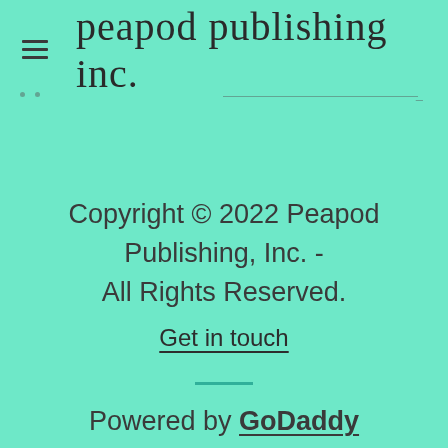peapod publishing inc.
Copyright © 2022 Peapod Publishing, Inc. - All Rights Reserved.
Get in touch
Powered by GoDaddy